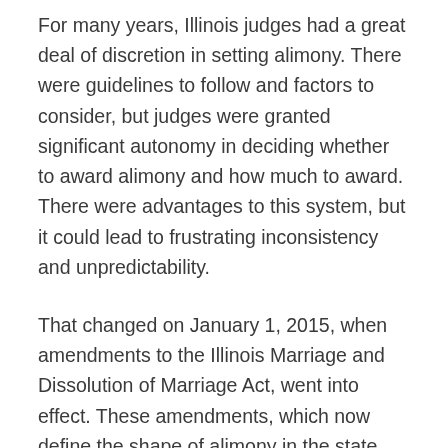For many years, Illinois judges had a great deal of discretion in setting alimony. There were guidelines to follow and factors to consider, but judges were granted significant autonomy in deciding whether to award alimony and how much to award. There were advantages to this system, but it could lead to frustrating inconsistency and unpredictability.
That changed on January 1, 2015, when amendments to the Illinois Marriage and Dissolution of Marriage Act, went into effect. These amendments, which now define the shape of alimony in the state, set precise mathematical standards for spousal maintenance.